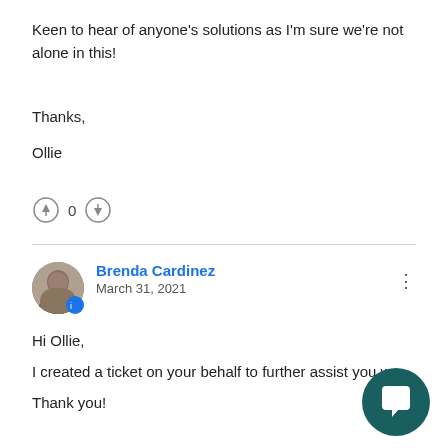Keen to hear of anyone's solutions as I'm sure we're not alone in this!
Thanks,
Ollie
0
Brenda Cardinez
March 31, 2021
Hi Ollie,
I created a ticket on your behalf to further assist you w
Thank you!